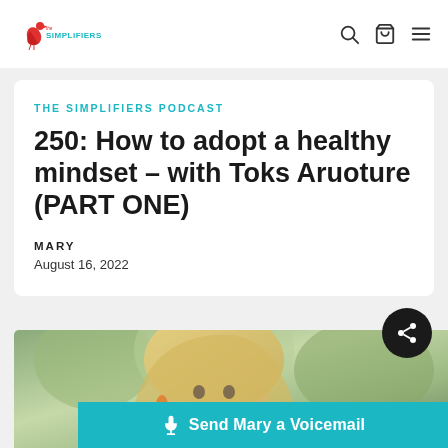The Simplifiers — logo and navigation
THE SIMPLIFIERS PODCAST
250: How to adopt a healthy mindset – with Toks Aruoture (PART ONE)
MARY
August 16, 2022
[Figure (photo): Photo of a blonde woman outdoors with blurred green background]
Send Mary a Voicemail